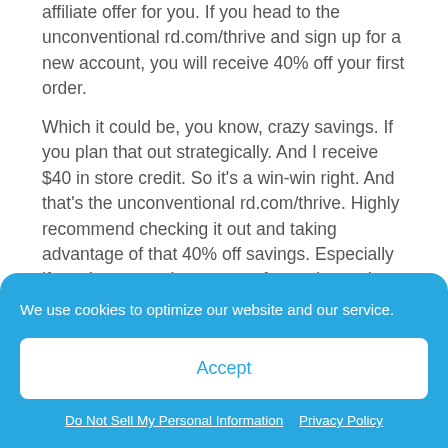affiliate offer for you. If you head to the unconventional rd.com/thrive and sign up for a new account, you will receive 40% off your first order.
Which it could be, you know, crazy savings. If you plan that out strategically. And I receive $40 in store credit. So it's a win-win right. And that's the unconventional rd.com/thrive. Highly recommend checking it out and taking advantage of that 40% off savings. Especially if you have certain pantry or frozen items that you like to buy in bulk.
We use cookies to optimize our website and our service.
Accept
Do Not Sell My Personal Information
Privacy Policy